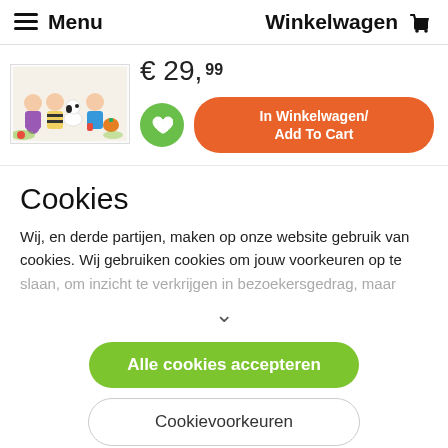Menu   Winkelwagen
[Figure (illustration): Peanuts characters (Charlie Brown, Snoopy, Lucy and others) in Halloween and seasonal costumes]
€ 29,99
In Winkelwagen/ Add To Cart
Cookies
Wij, en derde partijen, maken op onze website gebruik van cookies. Wij gebruiken cookies om jouw voorkeuren op te slaan, om inzicht te verkrijgen in bezoekersgedrag, maar
Alle cookies accepteren
Cookievoorkeuren